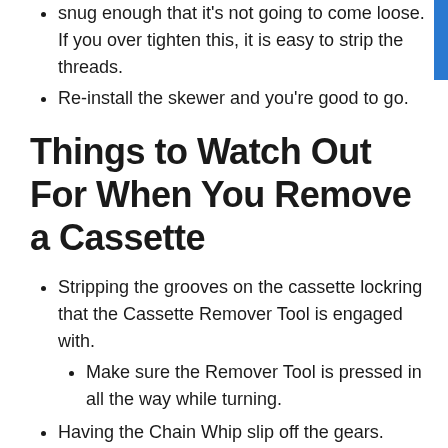snug enough that it's not going to come loose. If you over tighten this, it is easy to strip the threads.
Re-install the skewer and you're good to go.
Things to Watch Out For When You Remove a Cassette
Stripping the grooves on the cassette lockring that the Cassette Remover Tool is engaged with.
Make sure the Remover Tool is pressed in all the way while turning.
Having the Chain Whip slip off the gears.
Place the loose end of the chain on a larger cog to engage more teeth.
The cogs are stuck after the lockring is completely removed.